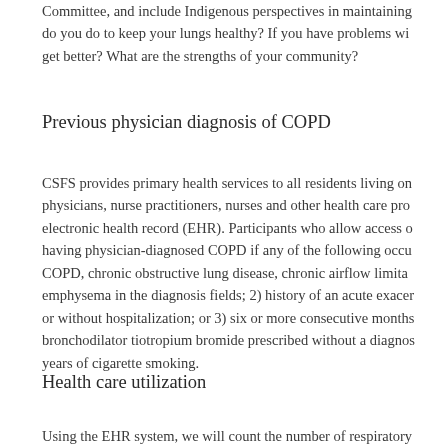Committee, and include Indigenous perspectives in maintaining do you do to keep your lungs healthy? If you have problems wi get better? What are the strengths of your community?
Previous physician diagnosis of COPD
CSFS provides primary health services to all residents living on physicians, nurse practitioners, nurses and other health care pro electronic health record (EHR). Participants who allow access o having physician-diagnosed COPD if any of the following occu COPD, chronic obstructive lung disease, chronic airflow limita emphysema in the diagnosis fields; 2) history of an acute exacer or without hospitalization; or 3) six or more consecutive months bronchodilator tiotropium bromide prescribed without a diagnos years of cigarette smoking.
Health care utilization
Using the EHR system, we will count the number of respiratory